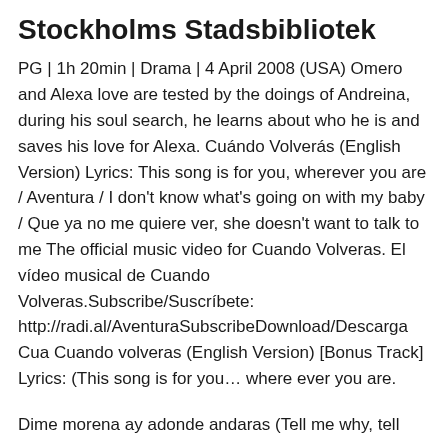Stockholms Stadsbibliotek
PG | 1h 20min | Drama | 4 April 2008 (USA) Omero and Alexa love are tested by the doings of Andreina, during his soul search, he learns about who he is and saves his love for Alexa. Cuándo Volverás (English Version) Lyrics: This song is for you, wherever you are / Aventura / I don't know what's going on with my baby / Que ya no me quiere ver, she doesn't want to talk to me The official music video for Cuando Volveras. El vídeo musical de Cuando Volveras.Subscribe/Suscríbete: http://radi.al/AventuraSubscribeDownload/Descarga Cua Cuando volveras (English Version) [Bonus Track] Lyrics: (This song is for you… where ever you are.
Dime morena ay adonde andaras (Tell me why, tell